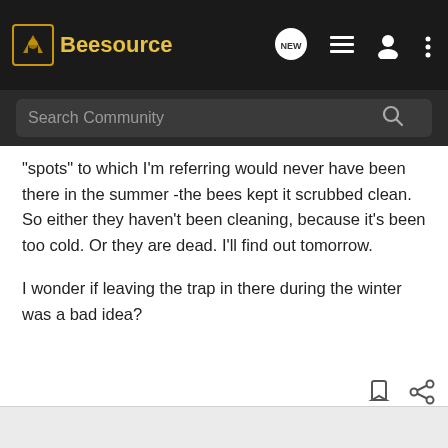Beesource
Search Community
"spots" to which I'm referring would never have been there in the summer -the bees kept it scrubbed clean. So either they haven't been cleaning, because it's been too cold. Or they are dead. I'll find out tomorrow.

I wonder if leaving the trap in there during the winter was a bad idea?